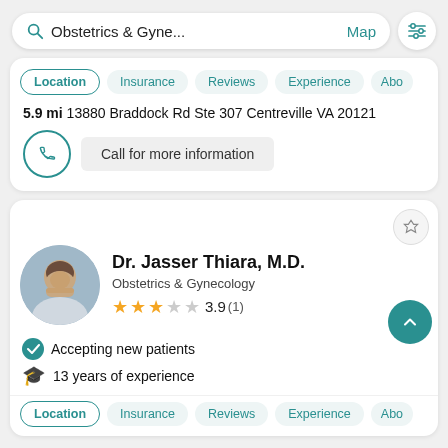[Figure (screenshot): Search bar showing 'Obstetrics & Gyne...' with Map link and filter icon]
Location | Insurance | Reviews | Experience | Abo
5.9 mi 13880 Braddock Rd Ste 307 Centreville VA 20121
Call for more information
Dr. Jasser Thiara, M.D.
Obstetrics & Gynecology
3.9 (1)
Accepting new patients
13 years of experience
Location | Insurance | Reviews | Experience | Abo